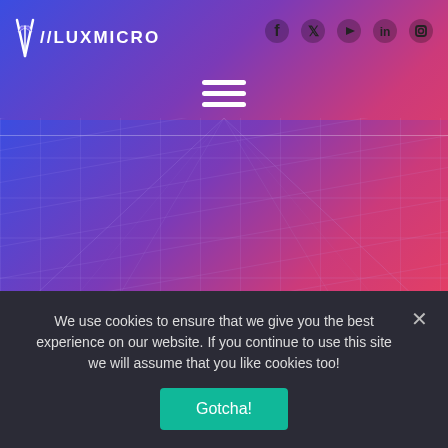[Figure (screenshot): LuxMicro website header with blue-to-pink gradient background, logo on left, social media icons (Facebook, Twitter, YouTube, LinkedIn, Instagram) on right, hamburger menu in center, grid pattern overlay in hero section]
We use cookies to ensure that we give you the best experience on our website. If you continue to use this site we will assume that you like cookies too!
Gotcha!